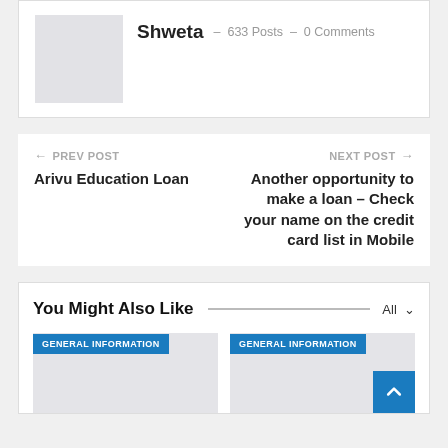Shweta – 633 Posts – 0 Comments
← PREV POST
Arivu Education Loan
NEXT POST →
Another opportunity to make a loan – Check your name on the credit card list in Mobile
You Might Also Like
GENERAL INFORMATION
GENERAL INFORMATION